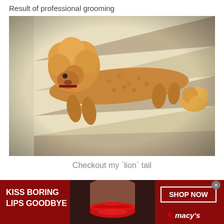Result of professional grooming
[Figure (photo): A golden/apricot poodle dog with a lion-cut grooming style walking down carpeted stairs. The dog has a fluffy mane on the head and a pom-pom tail, with the body shaved short. The staircase has beige/tan carpet. Photo taken from above looking down the stairs.]
Checkout my `lion` tail
[Figure (photo): Advertisement banner for Macy's cosmetics. Dark red/maroon background with a close-up of a woman's face showing red lips. Left side says 'KISS BORING LIPS GOODBYE' in white bold text. Right side has a 'SHOP NOW' button outlined in white and the Macy's star logo in red with 'macy's' text in white.]